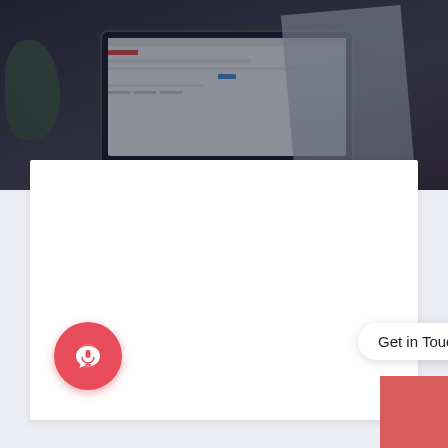[Figure (photo): Background photo of a laptop on a desk with blurred background, dark overlay. A person's hands visible with an open book/magazine on the right. Dark moody tones.]
[Figure (screenshot): White card/panel with empty content area displayed in front of the background.]
Get in Touch
[Figure (illustration): Round red chat/microphone button icon on the bottom left, and a red square in the bottom right corner.]